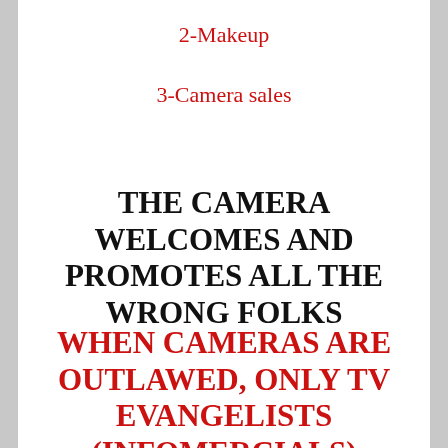2-Makeup
3-Camera sales
THE CAMERA WELCOMES AND PROMOTES ALL THE WRONG FOLKS
WHEN CAMERAS ARE OUTLAWED, ONLY TV EVANGELISTS (infomercials)